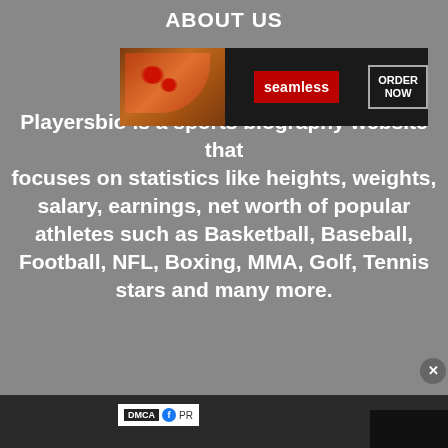ABOUT US
[Figure (screenshot): Seamless food delivery advertisement banner showing pizza image, Seamless logo in red, and ORDER NOW button]
Playersbio is a sports biography website that focuses on statistics like heights, weights, salary, earnings, net worth of popular athletes such as Basketball, Baseball, Football, NFL, Boxing, MMA, Golf, Tennis stars and many more.
[Figure (screenshot): DMCA protected badge and partial overlay panel showing black video/media player area with close X button]
FOLLOW
Privacy Policy
[Figure (screenshot): Macy's advertisement banner: KISS BORING LIPS GOODBYE with SHOP NOW button and Macy's star logo, featuring model with red lips]